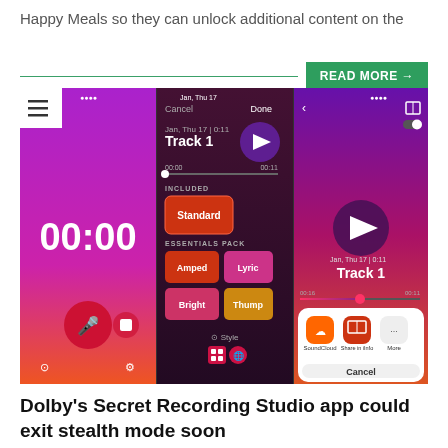Happy Meals so they can unlock additional content on the
READ MORE →
[Figure (screenshot): Three mobile app screenshots showing a recording studio app interface with purple/pink gradient backgrounds. Left screen shows a timer displaying 00:00 with microphone button. Middle screen shows Track 1 editing with style packs: Standard (included), Amped, Lyric, Bright, Thump. Right screen shows Track 1 playback with sharing options including SoundCloud, Share to iMessage, and Cancel.]
Dolby's Secret Recording Studio app could exit stealth mode soon